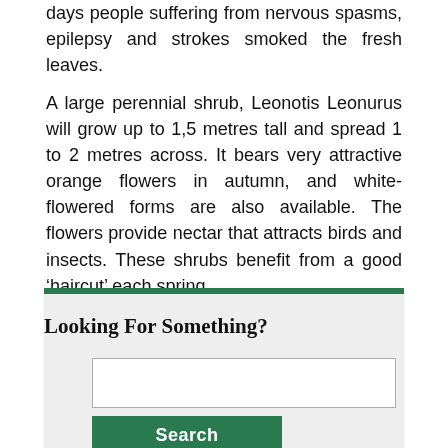days people suffering from nervous spasms, epilepsy and strokes smoked the fresh leaves.
A large perennial shrub, Leonotis Leonurus will grow up to 1,5 metres tall and spread 1 to 2 metres across. It bears very attractive orange flowers in autumn, and white-flowered forms are also available. The flowers provide nectar that attracts birds and insects. These shrubs benefit from a good ‘haircut’ each spring.
Looking For Something?
[Figure (screenshot): Search box widget with a text input field and a green Search button]